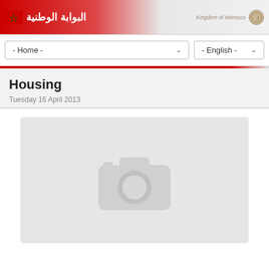البوابة الوطنية — Kingdom of Morocco
- Home -
- English -
Housing
Tuesday 16 April 2013
[Figure (photo): Placeholder image with camera icon indicating no image available]